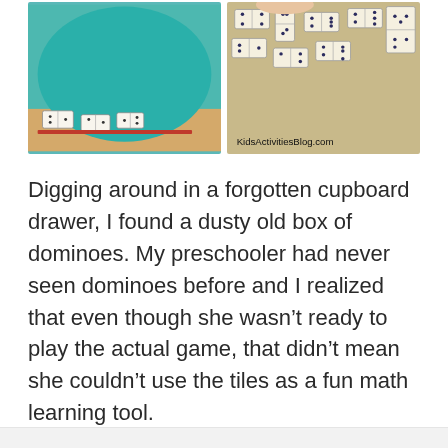[Figure (photo): Two photos side by side: left photo shows dominoes on a wooden surface with teal fabric/bag; right photo shows dominoes tiles scattered on a surface, with watermark 'KidsActivitiesBlog.com']
Digging around in a forgotten cupboard drawer, I found a dusty old box of dominoes. My preschooler had never seen dominoes before and I realized that even though she wasn't ready to play the actual game, that didn't mean she couldn't use the tiles as a fun math learning tool.